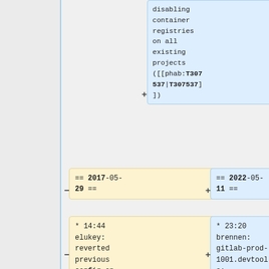disabling container registries on all existing projects ([[phab:T307537|T307537]])
== 2017-05-29 ==
== 2022-05-11 ==
* 14:44 elukey: reverted previous config on redis01
* 23:20 brennen: gitlab-prod-1001.devtools: container registry